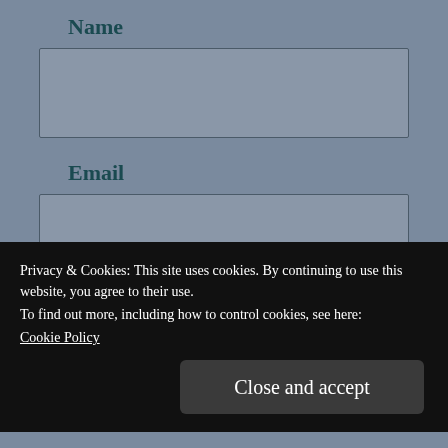Name
[Figure (other): Empty input field for Name]
Email
[Figure (other): Empty input field for Email]
Website
[Figure (other): Empty input field for Website]
Privacy & Cookies: This site uses cookies. By continuing to use this website, you agree to their use.
To find out more, including how to control cookies, see here:
Cookie Policy
Close and accept